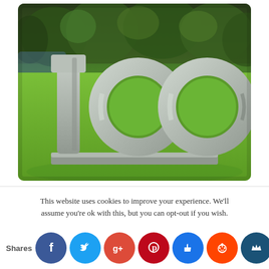[Figure (photo): Photograph of a large stone sculpture of the number 100 standing on a base in a grassy park with trees in the background]
This website uses cookies to improve your experience. We'll assume you're ok with this, but you can opt-out if you wish.
[Figure (infographic): Social sharing buttons bar showing: Shares label, Facebook (blue), Twitter (light blue), Google+ (red), Pinterest (dark red), Like/thumbs up (blue), Reddit (orange-red), and a crown/bookmark button (dark blue)]